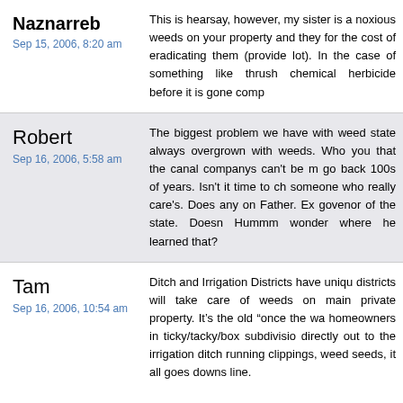Naznarreb
Sep 15, 2006, 8:20 am
This is hearsay, however, my sister is a noxious weeds on your property and they for the cost of eradicating them (provide lot). In the case of something like thrush chemical herbicide before it is gone comp
Robert
Sep 16, 2006, 5:58 am
The biggest problem we have with weed state always overgrown with weeds. Who you that the canal companys can't be m go back 100s of years. Isn't it time to ch someone who really care's. Does any on Father. Ex govenor of the state. Doesn Hummm wonder where he learned that?
Tam
Sep 16, 2006, 10:54 am
Ditch and Irrigation Districts have uniqu districts will take care of weeds on main private property. It's the old “once the wa homeowners in ticky/tacky/box subdivisio directly out to the irrigation ditch running clippings, weed seeds, it all goes downs line.
Developers have much of the blame to farmland, where weeds were eradicated